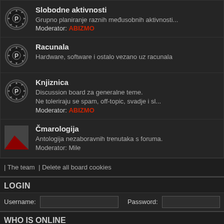Slobodne aktivnosti
Grupno planiranje raznih međusobnih aktivnosti...
Moderator: ABIZMO
Racunala
Hardware, software i ostalo vezano uz racunala
Knjiznica
Discussion board za generalne teme.
Ne toleriraju se spam, off-topic, svadje i sl...
Moderator: ABIZMO
Čmarologija
Antologija nezaboravnih trenutaka s foruma.
Moderator: Mile
| The team | Delete all board cookies
LOGIN
Username:   Password:
WHO IS ONLINE
In total there are 3 users online :: 1 registered, 0 hidden and 2 guests (based on users active o
Most users ever online was 535 on Fri Mar 13, 2020 15:31